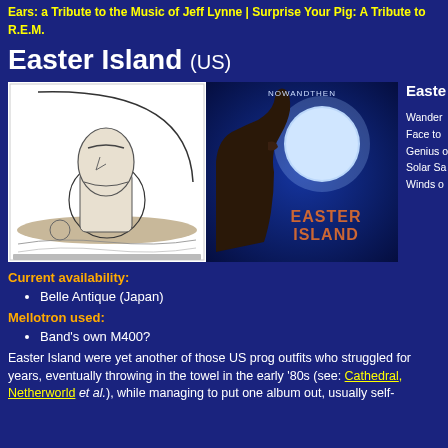Ears: a Tribute to the Music of Jeff Lynne | Surprise Your Pig: A Tribute to R.E.M.
Easter Island  (US)
[Figure (photo): Two album covers side by side: left is a black-and-white line drawing of an Easter Island moai statue with a circle behind it; right is 'Now and Then' album cover showing a moai profile against a blue night sky with a large moon, text reads 'EASTER ISLAND']
Easte
Wander
Face to
Genius o
Solar Sa
Winds o
Current availability:
Belle Antique (Japan)
Mellotron used:
Band's own M400?
Easter Island were yet another of those US prog outfits who struggled for years, eventually throwing in the towel in the early '80s (see: Cathedral, Netherworld et al.), while managing to put one album out, usually self-